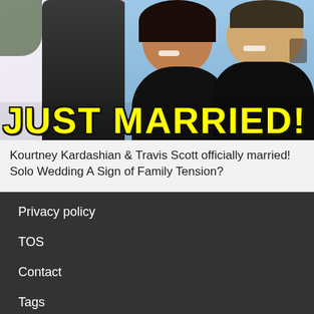[Figure (photo): Thumbnail image showing a wedding scene on the left with a couple in formal attire with a veil, and on the right Kourtney Kardashian and Travis Barker smiling against a blue background. A bold yellow 'JUST MARRIED!' text banner overlays the bottom of the image.]
Kourtney Kardashian & Travis Scott officially married! Solo Wedding A Sign of Family Tension?
Privacy policy
TOS
Contact
Tags